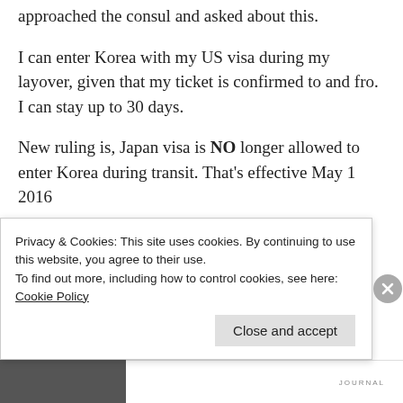approached the consul and asked about this.
I can enter Korea with my US visa during my layover, given that my ticket is confirmed to and fro. I can stay up to 30 days.
New ruling is, Japan visa is NO longer allowed to enter Korea during transit. That's effective May 1 2016
Privacy & Cookies: This site uses cookies. By continuing to use this website, you agree to their use.
To find out more, including how to control cookies, see here: Cookie Policy
Close and accept